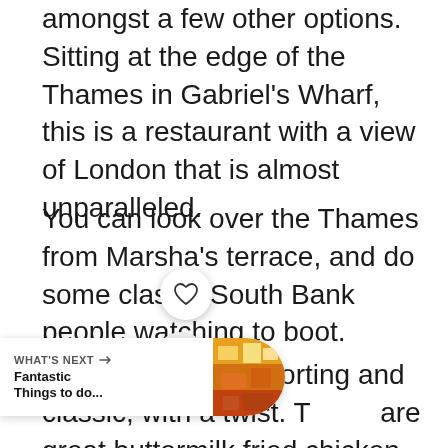amongst a few other options. Sitting at the edge of the Thames in Gabriel's Wharf, this is a restaurant with a view of London that is almost unparalleled.
You can look over the Thames from Marsha's terrace, and do some classic South Bank people watching to boot.
The food is comforting and classic, with a twist. There are great buttermilk fried chicken tenders, for example, something it's hard to find in the UK and a grilled chicken menu that includes a spatchcock with black garlic,
[Figure (other): UI overlay elements: heart/save button, share button, and a 'What's Next' promotional bar showing 'Fantastic Things to do...' with a thumbnail image]